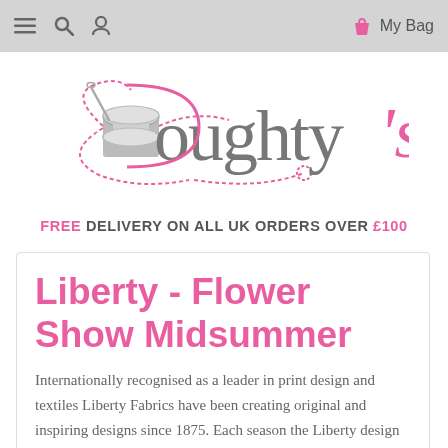≡  🔍  👤  🛍 My Bag
[Figure (logo): Doughty's fabric shop logo: a spool of thread with pink cursive stitching forming the brand name 'Doughty's' in gray serif and pink script lettering]
FREE DELIVERY ON ALL UK ORDERS OVER £100
Liberty - Flower Show Midsummer
Internationally recognised as a leader in print design and textiles Liberty Fabrics have been creating original and inspiring designs since 1875. Each season the Liberty design studio creates new and original